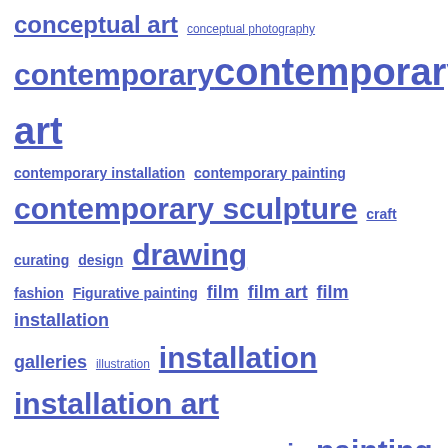conceptual art conceptual photography contemporary contemporary art contemporary installation contemporary painting contemporary sculpture craft curating design drawing fashion Figurative painting film film art film installation galleries illustration installation installation art intervention kinetic sculpture modernism music painting performance performance art philosophy photography public art sculpture sound sound art Uncategorized video video installation war art
criticismism in your inbox
input you @ your address